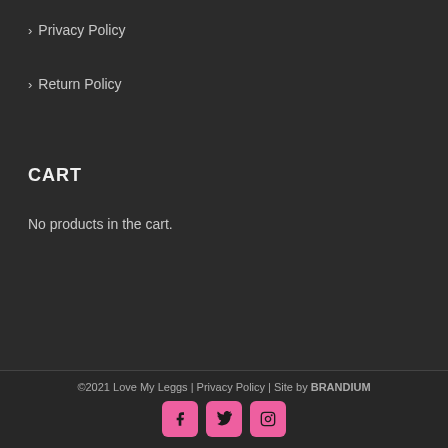Privacy Policy
Return Policy
CART
No products in the cart.
©2021 Love My Leggs | Privacy Policy | Site by BRANDIUM